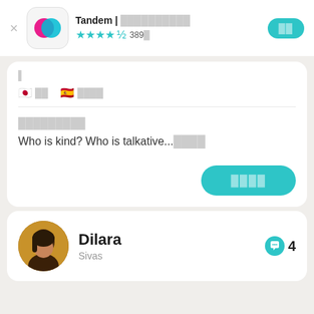Tandem | 언어교환 파트너 찾기  ★★★★½ 389개
🇯🇵 일어  🇪🇸 스페인어
누구보다도 친절하고
Who is kind? Who is talkative...もっと見る
Dilara
Sivas